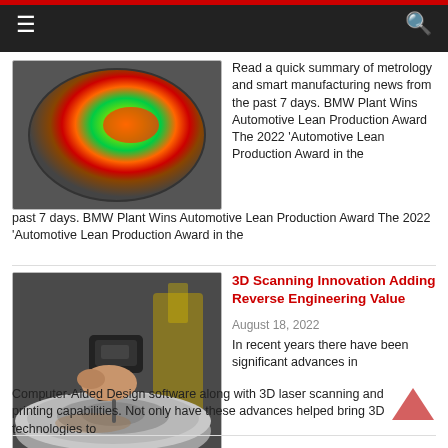[Figure (photo): Colorful heat-map style simulation image of a disk or valve component showing green, yellow, red color gradients indicating stress or flow distribution]
Read a quick summary of metrology and smart manufacturing news from the past 7 days. BMW Plant Wins Automotive Lean Production Award The 2022 'Automotive Lean Production Award in the
3D Scanning Innovation Adding Reverse Engineering Value
August 18, 2022
[Figure (photo): A person's hand holding a handheld 3D scanner over a large metal wheel hub or brake disc component, with industrial machinery visible in the background]
In recent years there have been significant advances in Computer-Aided Design software along with 3D laser scanning and printing capabilities. Not only have these advances helped bring 3D technologies to